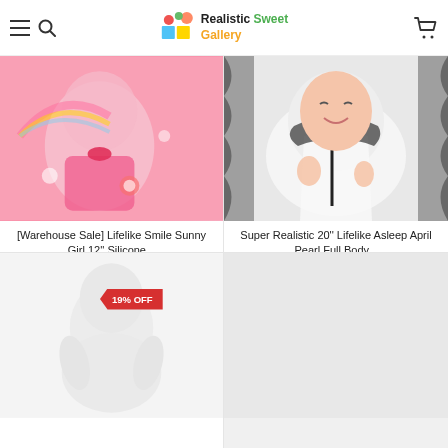Realistic Sweet Gallery
[Figure (photo): Reborn doll in pink rainbow outfit lying down]
[Warehouse Sale] Lifelike Smile Sunny Girl 12'' Silicone...
$39.99
[Figure (photo): Realistic reborn baby doll in white winter jacket, eyes closed, smiling]
Super Realistic 20'' Lifelike Asleep April Pearl Full Body...
$88.99  $109.99
[Figure (photo): White silicone reborn doll with 19% OFF badge]
[Figure (photo): Product placeholder image, light gray]